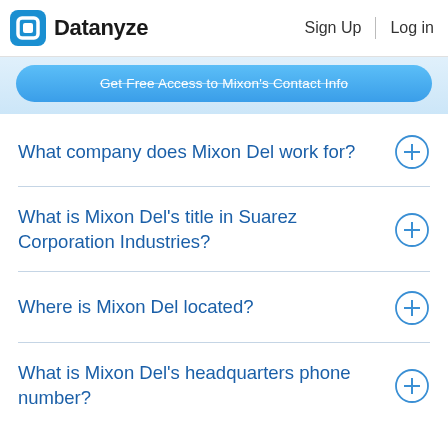Datanyze  Sign Up  Log in
[Figure (other): Blue rounded button: 'Get Free Access to Mixon's Contact Info']
What company does Mixon Del work for?
What is Mixon Del's title in Suarez Corporation Industries?
Where is Mixon Del located?
What is Mixon Del's headquarters phone number?